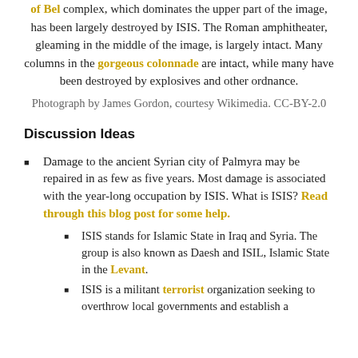of Bel complex, which dominates the upper part of the image, has been largely destroyed by ISIS. The Roman amphitheater, gleaming in the middle of the image, is largely intact. Many columns in the gorgeous colonnade are intact, while many have been destroyed by explosives and other ordnance.
Photograph by James Gordon, courtesy Wikimedia. CC-BY-2.0
Discussion Ideas
Damage to the ancient Syrian city of Palmyra may be repaired in as few as five years. Most damage is associated with the year-long occupation by ISIS. What is ISIS? Read through this blog post for some help.
ISIS stands for Islamic State in Iraq and Syria. The group is also known as Daesh and ISIL, Islamic State in the Levant.
ISIS is a militant terrorist organization seeking to overthrow local governments and establish a